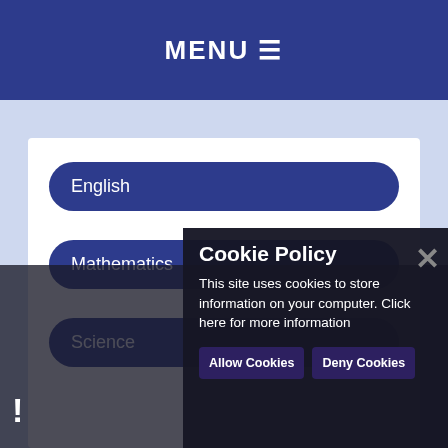MENU ☰
English
Mathematics
Science
Cookie Policy
This site uses cookies to store information on your computer. Click here for more information
Allow Cookies
Deny Cookies